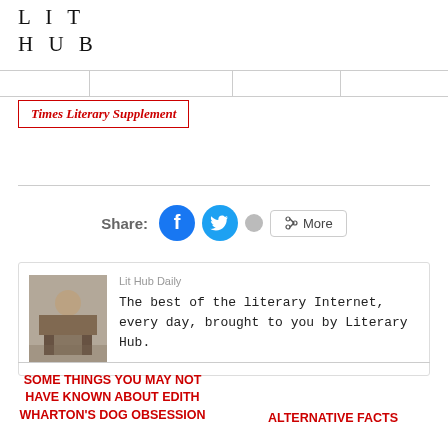LIT HUB
Times Literary Supplement
Share:
[Figure (screenshot): Share buttons: Facebook (blue circle with f icon), Twitter (cyan circle with bird icon), grey dot button, More button with share icon]
Lit Hub Daily
The best of the literary Internet, every day, brought to you by Literary Hub.
SOME THINGS YOU MAY NOT HAVE KNOWN ABOUT EDITH WHARTON'S DOG OBSESSION
ALTERNATIVE FACTS